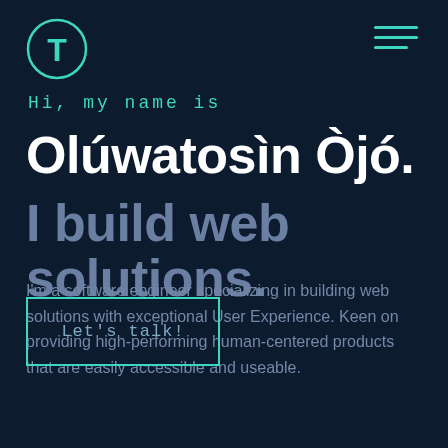[Figure (logo): Circular logo with a stylized T letter in teal/mint color on dark navy background]
Hi, my name is
Olúwatosìn Òjó.
I build web solutions.
I'm a software engineer specializing in building web solutions with exceptional User Experience. Keen on providing high-performing human-centered products that are easily accessible and useable.
Let's talk!